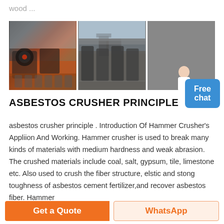wood ...
[Figure (photo): Three photos of mining/crushing machinery: left shows crushers on a truck, center shows an outdoor crushing site, right shows industrial equipment in a warehouse]
ASBESTOS CRUSHER PRINCIPLE
asbestos crusher principle . Introduction Of Hammer Crusher's Appliion And Working. Hammer crusher is used to break many kinds of materials with medium hardness and weak abrasion. The crushed materials include coal, salt, gypsum, tile, limestone etc. Also used to crush the fiber structure, elstic and stong toughness of asbestos cement fertilizer,and recover asbestos fiber. Hammer
Get a Quote
WhatsApp